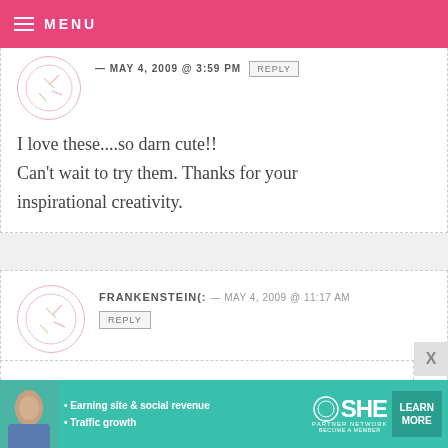MENU
I love these....so darn cute!! Can’t wait to try them. Thanks for your inspirational creativity.
FRANKENSTEIN(: — MAY 4, 2009 @ 11:17 AM
you should make videos..like tutorials. that would be interesting and help full
[Figure (infographic): SHE Partner Network advertisement banner with woman photo, bullet points about earning site & social revenue and traffic growth, SHE logo, and LEARN MORE button]